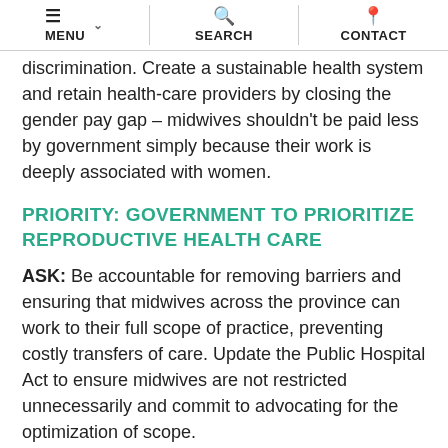MENU  SEARCH  CONTACT
discrimination. Create a sustainable health system and retain health-care providers by closing the gender pay gap – midwives shouldn't be paid less by government simply because their work is deeply associated with women.
PRIORITY: GOVERNMENT TO PRIORITIZE REPRODUCTIVE HEALTH CARE
ASK: Be accountable for removing barriers and ensuring that midwives across the province can work to their full scope of practice, preventing costly transfers of care. Update the Public Hospital Act to ensure midwives are not restricted unnecessarily and commit to advocating for the optimization of scope.